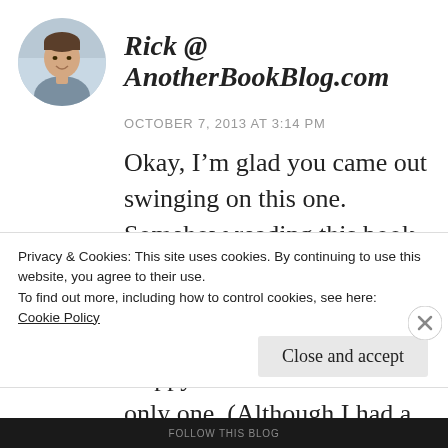Rick @ AnotherBookBlog.com
OCTOBER 7, 2013 AT 3:14 PM
Okay, I'm glad you came out swinging on this one. Somehow reading this book got me thinking of fairly large concepts like gender/societal issues. Happy to see I'm not the only one. (Although I had a feeling Laura was going to take a stand
Privacy & Cookies: This site uses cookies. By continuing to use this website, you agree to their use.
To find out more, including how to control cookies, see here:
Cookie Policy
Close and accept